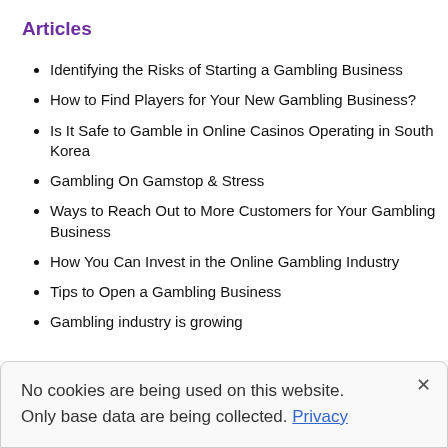Articles
Identifying the Risks of Starting a Gambling Business
How to Find Players for Your New Gambling Business?
Is It Safe to Gamble in Online Casinos Operating in South Korea
Gambling On Gamstop & Stress
Ways to Reach Out to More Customers for Your Gambling Business
How You Can Invest in the Online Gambling Industry
Tips to Open a Gambling Business
Gambling industry is growing
No cookies are being used on this website. Only base data are being collected. Privacy